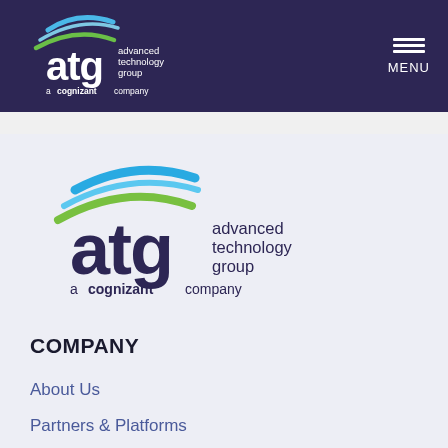[Figure (logo): ATG Advanced Technology Group, a cognizant company logo in white on dark navy header bar]
[Figure (logo): ATG Advanced Technology Group, a cognizant company logo in navy/blue/green on light lavender background]
COMPANY
About Us
Partners & Platforms
Clients